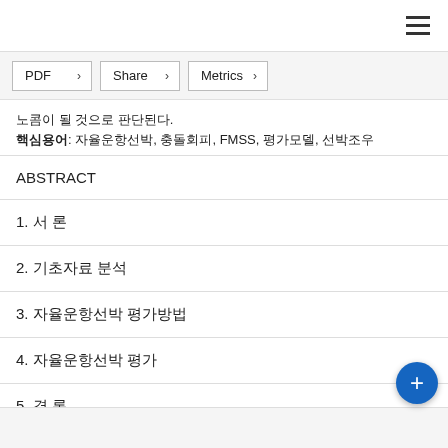노콤이 될 것으로 판단된다.
핵심용어: 자율운항선박, 충돌회피, FMSS, 평가모델, 선박조우
ABSTRACT
1. 서 론
2. 기초자료 분석
3. 자율운항선박 평가방법
4. 자율운항선박 평가
5. 결 론